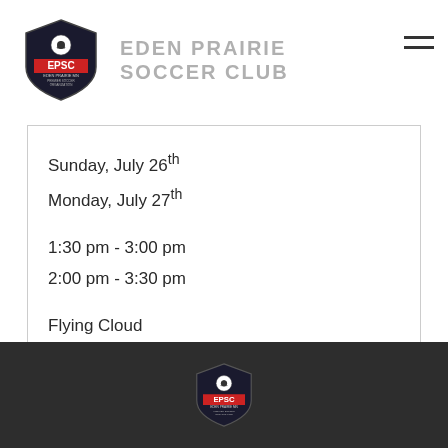EDEN PRAIRIE SOCCER CLUB
Sunday, July 26th
Monday, July 27th

1:30 pm - 3:00 pm
2:00 pm - 3:30 pm

Flying Cloud